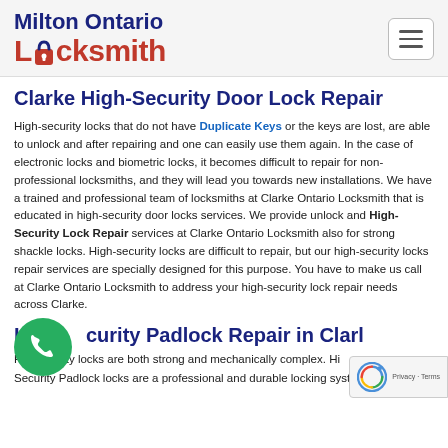Milton Ontario Locksmith
Clarke High-Security Door Lock Repair
High-security locks that do not have Duplicate Keys or the keys are lost, are able to unlock and after repairing and one can easily use them again. In the case of electronic locks and biometric locks, it becomes difficult to repair for non-professional locksmiths, and they will lead you towards new installations. We have a trained and professional team of locksmiths at Clarke Ontario Locksmith that is educated in high-security door locks services. We provide unlock and High-Security Lock Repair services at Clarke Ontario Locksmith also for strong shackle locks. High-security locks are difficult to repair, but our high-security locks repair services are specially designed for this purpose. You have to make us call at Clarke Ontario Locksmith to address your high-security lock repair needs across Clarke.
High-Security Padlock Repair in Clarke
High-quality locks are both strong and mechanically complex. High-Security Padlock locks are a professional and durable locking system.